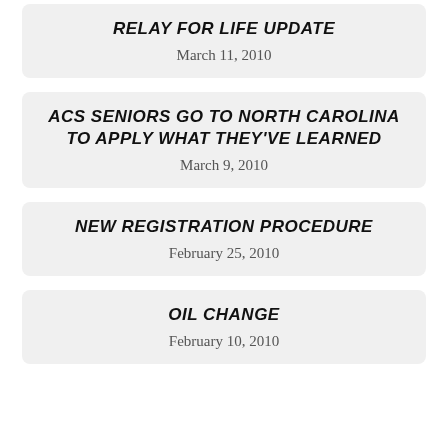RELAY FOR LIFE UPDATE
March 11, 2010
ACS SENIORS GO TO NORTH CAROLINA TO APPLY WHAT THEY'VE LEARNED
March 9, 2010
NEW REGISTRATION PROCEDURE
February 25, 2010
OIL CHANGE
February 10, 2010